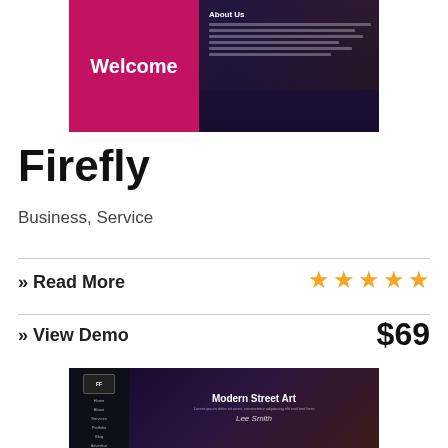[Figure (screenshot): Website template preview showing a dark purple page with a pink 'Welcome' banner on the left and 'About Us' text content on the right, over a blurred crowd/event background.]
Firefly
Business, Service
» Read More
★★★★★
» View Demo
$69
[Figure (screenshot): Website template preview showing a dark moody page with sidebar navigation and 'Modern Street Art' heading in white text over a dark atmospheric background.]